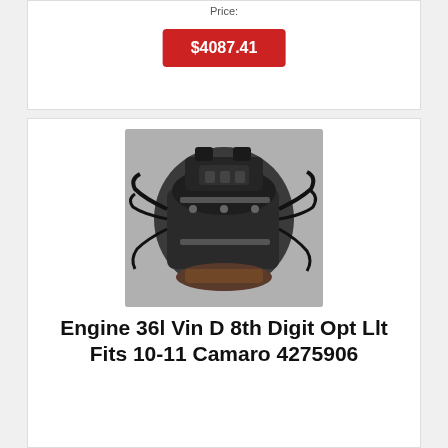Price:
$4087.41
[Figure (photo): Photo of a used automotive engine (3.6l V6) removed from vehicle, showing engine block with wiring harness and components, sitting on a surface]
Engine 36l Vin D 8th Digit Opt Llt Fits 10-11 Camaro 4275906
Engine 36l Vin D 8th Digit Opt Llt Fits 10-11 Camaro 4275906
Camaro 11 3.6l (vin D, 8th Digit, Opt Llt). Camaro 10 3.6l (vin V, 8th Digit,